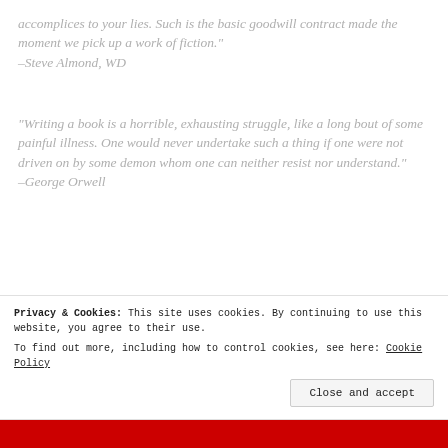accomplices to your lies. Such is the basic goodwill contract made the moment we pick up a work of fiction."
–Steve Almond, WD
"Writing a book is a horrible, exhausting struggle, like a long bout of some painful illness. One would never undertake such a thing if one were not driven on by some demon whom one can neither resist nor understand."
–George Orwell
"It ain't whatcha write, it's the way atcha write
Privacy & Cookies: This site uses cookies. By continuing to use this website, you agree to their use.
To find out more, including how to control cookies, see here: Cookie Policy